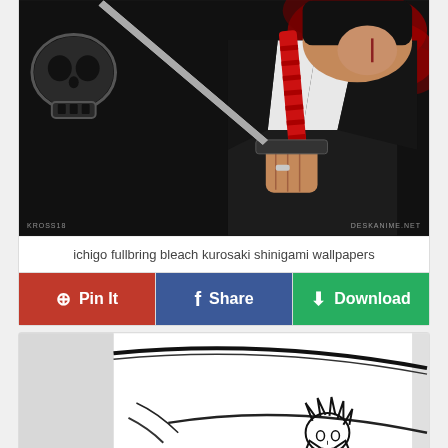[Figure (illustration): Anime illustration of Ichigo Kurosaki in shinigami form holding a zanpakuto sword, wearing black robes. Dark background with skull symbol and red flame accents. Watermarks: 'KROSS18' bottom left, 'DESKANIME.NET' bottom right.]
ichigo fullbring bleach kurosaki shinigami wallpapers
[Figure (illustration): Black and white sketch/line art illustration of an anime character (Ichigo) with a large curved sword, drawn in manga style on white/gray background.]